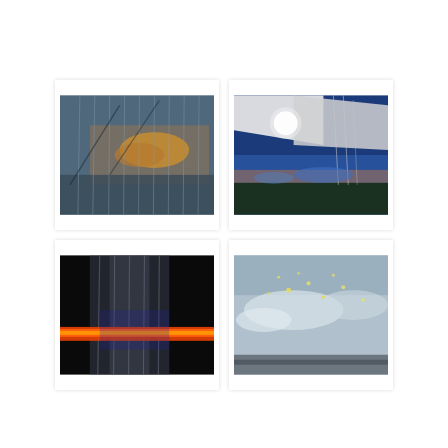[Figure (photo): A translucent curtain in shades of blue-grey hanging in front of a window, with a warm golden sunset or sunrise scene visible behind it, showing a silhouette of structures and a glowing orange/yellow cloud or light source]
[Figure (photo): An angular architectural structure — a white overhang or building corner — photographed against a vivid deep blue sky at dusk or dawn, with a bright glowing round light source (moon or lamp) visible and power lines in the background]
[Figure (photo): Dark, nearly black background with translucent curtain fabric draped across the frame and a vivid orange-red horizontal streak of light or fire cutting across the lower portion of the image]
[Figure (photo): A pale blue-grey sky with wispy white clouds and small scattered yellow-white specks or lights of light, and a dark horizontal band along the bottom, giving an atmospheric, hazy appearance]